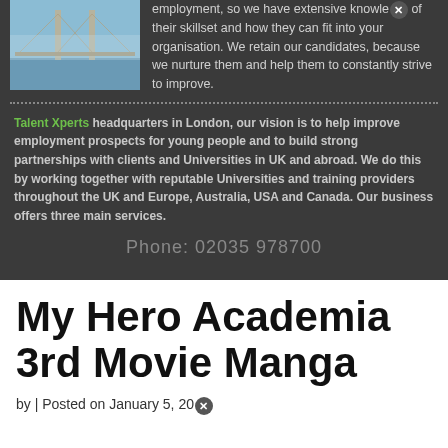[Figure (photo): Photo of a bridge (Golden Gate Bridge) with a blue sky and water, shown on a dark background]
employment, so we have extensive knowledge of their skillset and how they can fit into your organisation. We retain our candidates, because we nurture them and help them to constantly strive to improve.
Talent Xperts headquarters in London, our vision is to help improve employment prospects for young people and to build strong partnerships with clients and Universities in UK and abroad. We do this by working together with reputable Universities and training providers throughout the UK and Europe, Australia, USA and Canada. Our business offers three main services.
Phone: 02035 978700
My Hero Academia 3rd Movie Manga
by | Posted on January 5, 20